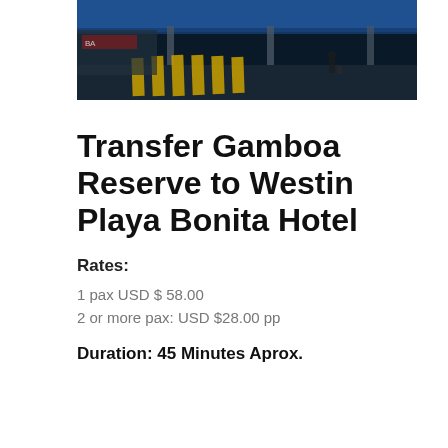[Figure (photo): Airport or transit terminal exterior with blue canopy/awning, pillars, road with yellow diagonal striped crosswalk markings, people with luggage in background]
Transfer Gamboa Reserve to Westin Playa Bonita Hotel
Rates:
1 pax USD $ 58.00
2 or more pax: USD $28.00 pp
Duration: 45 Minutes Aprox.